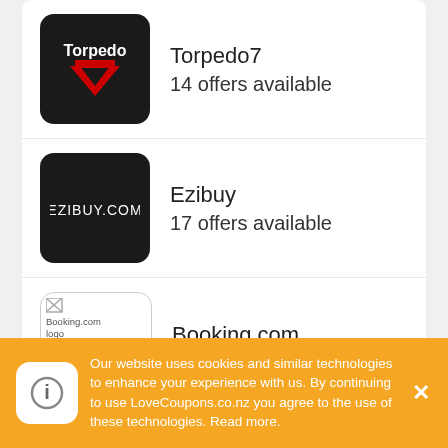[Figure (logo): Torpedo7 logo — black rounded square with white Torpedo text and red inverted chevron/7 symbol]
Torpedo7
14 offers available
[Figure (logo): Ezibuy logo — black rounded square with white EZIBUY.COM text]
Ezibuy
17 offers available
[Figure (logo): Booking.com logo — white rounded square with broken image placeholder and alt text 'Booking.com logo']
Booking.com
19 offers available
Best Of Signs Offers
Our website uses cookies and similar technologies to enhance your experience with us. By continuing to use LoveCoupons.co.nz you agree to the use of these technologies. Read more.